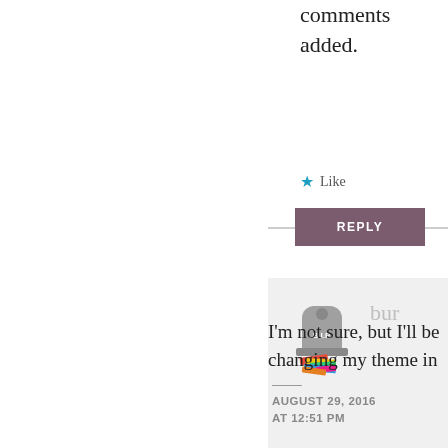comments added.
Like
REPLY
[Figure (illustration): Blog comment avatar: tombstone with B.I.P. engraved and colorful books stacked at its base]
bur
AUGUST 29, 2016 AT 12:51 PM
I'm not sure, but I'll be changing my theme in